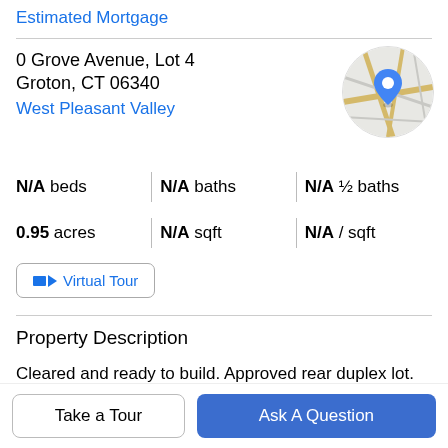Estimated Mortgage
0 Grove Avenue, Lot 4
Groton, CT 06340
West Pleasant Valley
[Figure (map): Circular map thumbnail showing street map with a blue location pin marker over Groton, CT area]
N/A beds | N/A baths | N/A ½ baths
0.95 acres | N/A sqft | N/A / sqft
Virtual Tour
Property Description
Cleared and ready to build. Approved rear duplex lot. City water, sewer and electric at street. Convenient location.
Take a Tour
Ask A Question